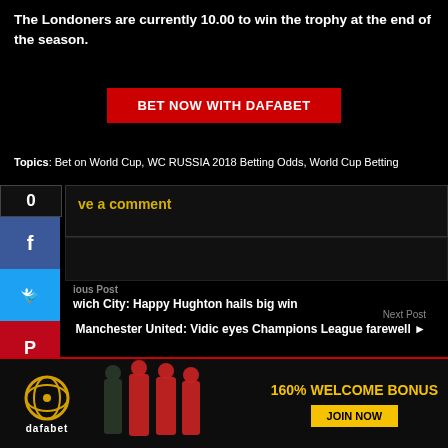The Londoners are currently 10.00 to win the trophy at the end of the season.
[Figure (other): BET NOW WITH DAFABET red button]
Topics: Bet on World Cup, WC RUSSIA 2018 Betting Odds, World Cup Betting
[Figure (other): Social share sidebar with count 0, Facebook, Twitter, Pinterest buttons]
Leave a comment
Previous Post
Ipswich City: Happy Hughton hails big win
Next Post
Manchester United: Vidic eyes Champions League farewell
[Figure (other): Dafabet advertisement banner with 160% WELCOME BONUS and JOIN NOW button]